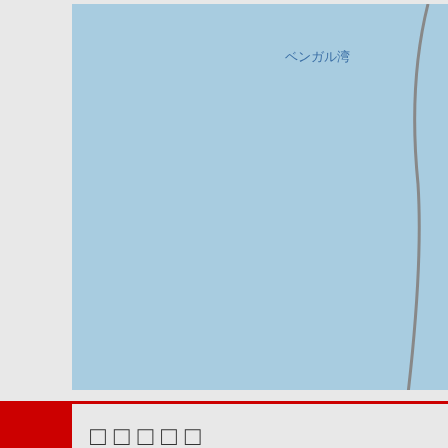[Figure (map): Map showing Bay of Bengal (ベンガル湾) in blue with a curved coastline/boundary in gray on the right side. The map has a blue ocean area with Japanese text label.]
□□□□□
| SID | SEASON | NUMBER | BASIN | SUBB... |
| --- | --- | --- | --- | --- |
| 1992167N12088 | 1992 | 38 | NI | BE... |
| 1992167N12088 | 1992 | 38 | NI | BE... |
| 1992167N12088 | 1992 | 38 | NI | BE... |
| 1992167N12088 | 1992 | 38 | NI | BE... |
| 1992167N12088 | 1992 | 38 | NI | BE... |